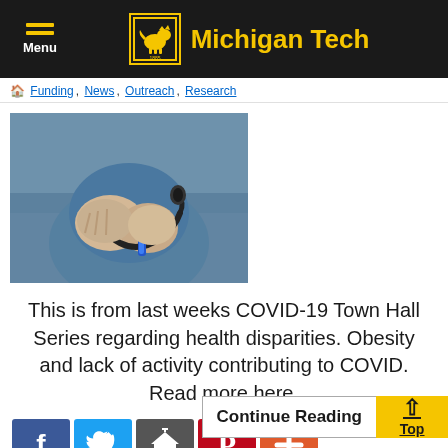Michigan Tech — Menu
Funding, News, Outreach, Research
[Figure (photo): Medical professional in scrubs and gloves holding a stethoscope]
This is from last weeks COVID-19 Town Hall Series regarding health disparities. Obesity and lack of activity contributing to COVID. Read more here.
[Figure (other): Social share buttons: Facebook, Twitter, Email, Pinterest, Plus]
Continue Reading